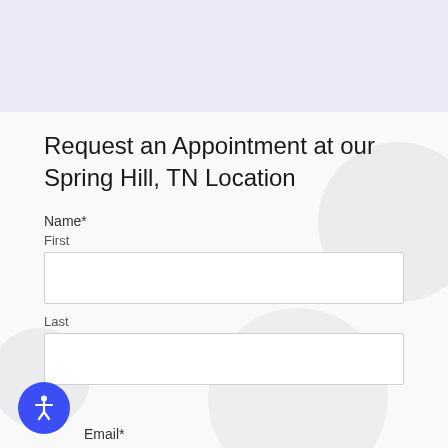Request an Appointment at our Spring Hill, TN Location
Name*
First
Last
Email*